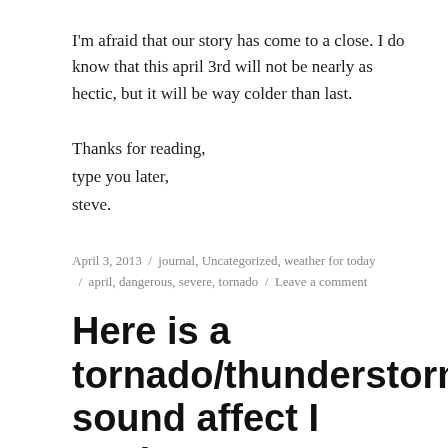I'm afraid that our story has come to a close. I do know that this april 3rd will not be nearly as hectic, but it will be way colder than last.
Thanks for reading,
type you later,
steve.
April 3, 2013  /  journal, Uncategorized, weather for today  /  april, dangerous, severe, tornado  /  Leave a comment
Here is a tornado/thunderstorm sound affect I made